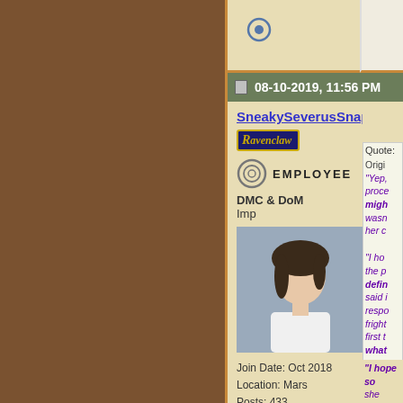08-10-2019, 11:56 PM
SneakySeverusSnape
[Figure (illustration): Ravenclaw house badge/banner in navy blue with gold text]
[Figure (illustration): Employee badge with circular logo and EMPLOYEE text]
DMC & DoM
Imp
[Figure (photo): Avatar photo of young Asian woman with dark hair in white top]
Join Date: Oct 2018
Location: Mars
Posts: 433
Hogwarts RPG Name:
Analiese W. Anderson
Fourth Year
Ministry RPG Name:
Giovanni F. Montanari
Magical Creatures
Ministry RPG Name:
Quote:
Originally...
"Yep, proce... might... wasn't... her c...
"I ho... the p... defin... said i... respo... fright... first t... what... chang... ahead...
"I hope so... she watche...